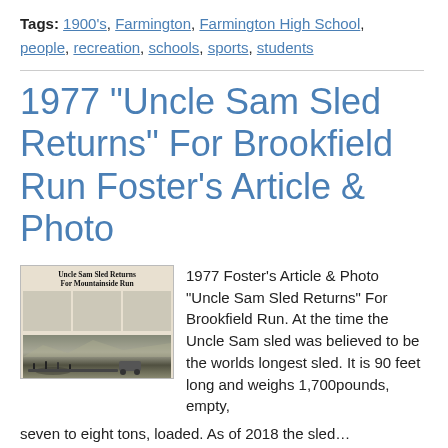Tags: 1900's, Farmington, Farmington High School, people, recreation, schools, sports, students
1977 "Uncle Sam Sled Returns" For Brookfield Run Foster's Article & Photo
[Figure (photo): Newspaper clipping with headline 'Uncle Sam Sled Returns For Mountainside Run' showing a newspaper article with columns of text and a photo of the sled on a snowy mountainside.]
1977 Foster's Article & Photo "Uncle Sam Sled Returns" For Brookfield Run. At the time the Uncle Sam sled was believed to be the worlds longest sled. It is 90 feet long and weighs 1,700pounds, empty, seven to eight tons, loaded. As of 2018 the sled…
Tags: history, outdoor, outside, people, recreation